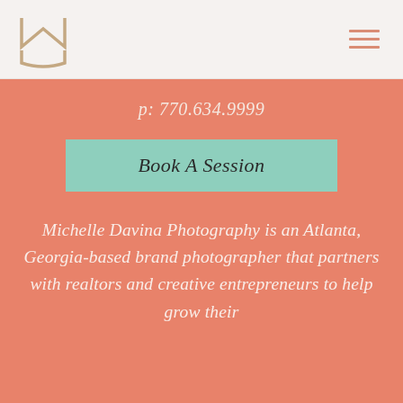MD logo and navigation hamburger menu
p: 770.634.9999
Book A Session
Michelle Davina Photography is an Atlanta, Georgia-based brand photographer that partners with realtors and creative entrepreneurs to help grow their